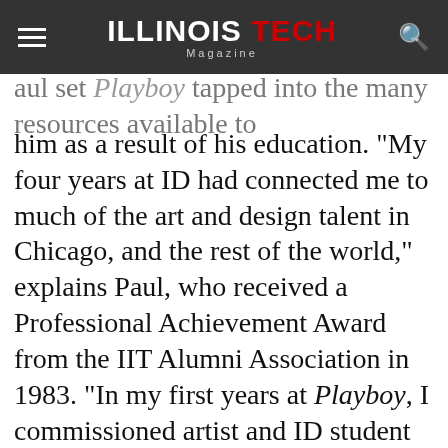ILLINOIS TECH Magazine
aul set Playboy tapped into the many resources available to him as a result of his education. “My four years at ID had connected me to much of the art and design talent in Chicago, and the rest of the world,” explains Paul, who received a Professional Achievement Award from the IIT Alumni Association in 1983. “In my first years at Playboy, I commissioned artist and ID student Franz Altschuler to do several illustrations and artist and ID student Leon Bellin to illustrate Playboy’s continuing ‘Ribald Classic’ feature. Chicago-area painters and sculptors such as Roy Schnakenberg, Ed Paschke, and Seymour Rosofsky were